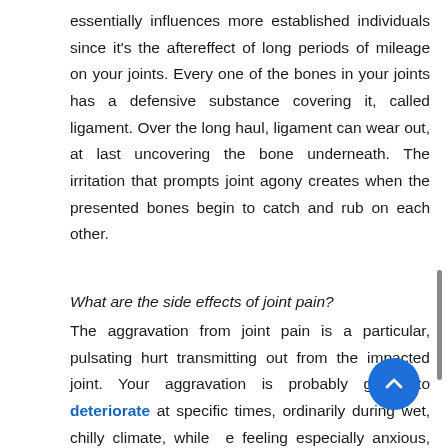essentially influences more established individuals since it's the aftereffect of long periods of mileage on your joints. Every one of the bones in your joints has a defensive substance covering it, called ligament. Over the long haul, ligament can wear out, at last uncovering the bone underneath. The irritation that prompts joint agony creates when the presented bones begin to catch and rub on each other.
What are the side effects of joint pain?
The aggravation from joint pain is a particular, pulsating hurt transmitting out from the impacted joint. Your aggravation is probably going to deteriorate at specific times, ordinarily during wet, chilly climate, while feeling especially anxious, and when you overexert yourself or do any sort of action that is not the same as